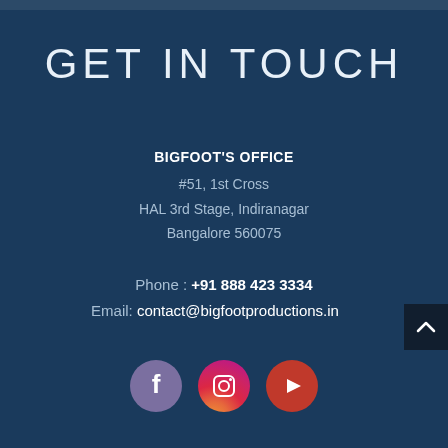GET IN TOUCH
BIGFOOT'S OFFICE
#51, 1st Cross
HAL 3rd Stage, Indiranagar
Bangalore 560075
Phone : +91 888 423 3334
Email: contact@bigfootproductions.in
[Figure (infographic): Social media icons: Facebook (purple circle), Instagram (gradient pink-red circle), YouTube (red circle)]